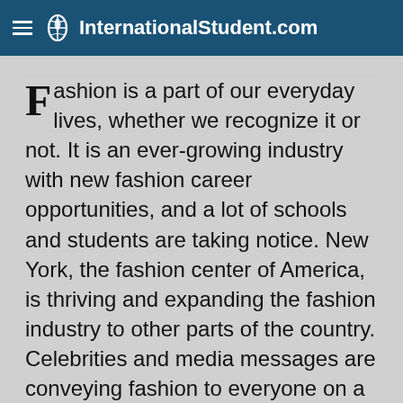InternationalStudent.com
Fashion is a part of our everyday lives, whether we recognize it or not. It is an ever-growing industry with new fashion career opportunities, and a lot of schools and students are taking notice. New York, the fashion center of America, is thriving and expanding the fashion industry to other parts of the country. Celebrities and media messages are conveying fashion to everyone on a daily basis. Fashion is clearly a subject of study that can influence...